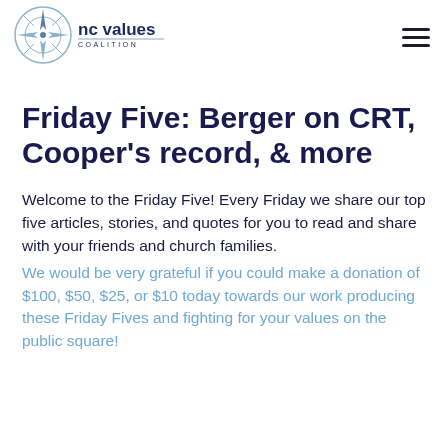[Figure (logo): NC Values Coalition compass logo with organization name]
Friday Five: Berger on CRT, Cooper's record, & more
Welcome to the Friday Five! Every Friday we share our top five articles, stories, and quotes for you to read and share with your friends and church families.
We would be very grateful if you could make a donation of $100, $50, $25, or $10 today towards our work producing these Friday Fives and fighting for your values on the public square!